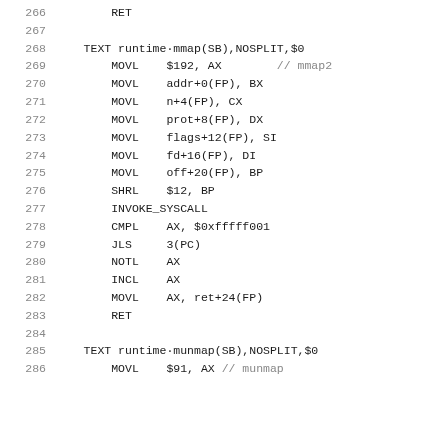266    RET
267
268    TEXT runtime·mmap(SB),NOSPLIT,$0
269        MOVL    $192, AX        // mmap2
270        MOVL    addr+0(FP), BX
271        MOVL    n+4(FP), CX
272        MOVL    prot+8(FP), DX
273        MOVL    flags+12(FP), SI
274        MOVL    fd+16(FP), DI
275        MOVL    off+20(FP), BP
276        SHRL    $12, BP
277        INVOKE_SYSCALL
278        CMPL    AX, $0xfffff001
279        JLS     3(PC)
280        NOTL    AX
281        INCL    AX
282        MOVL    AX, ret+24(FP)
283        RET
284
285    TEXT runtime·munmap(SB),NOSPLIT,$0
286        MOVL    $91, AX // munmap